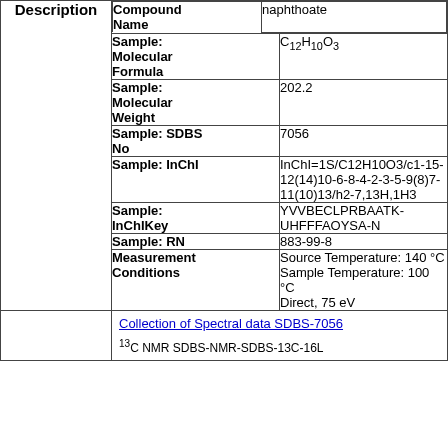| Description | Field | Value |
| --- | --- | --- |
| Description | Sample: Molecular Formula | C12H10O3 |
| Description | Sample: Molecular Weight | 202.2 |
| Description | Sample: SDBS No | 7056 |
| Description | Sample: InChI | InChI=1S/C12H10O3/c1-15-12(14)10-6-8-4-2-3-5-9(8)7-11(10)13/h2-7,13H,1H3 |
| Description | Sample: InChIKey | YVVBECLPRBAATK-UHFFFAOYSA-N |
| Description | Sample: RN | 883-99-8 |
| Description | Measurement Conditions | Source Temperature: 140 °C
Sample Temperature: 100 °C
Direct, 75 eV |
Collection of Spectral data SDBS-7056
13C NMR SDBS-NMR-SDBS-13C-...